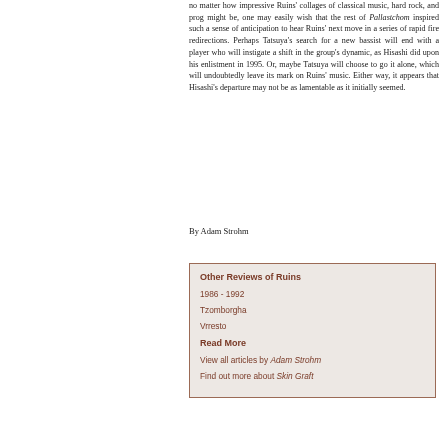no matter how impressive Ruins' collages of classical music, hard rock, and prog might be, one may easily wish that the rest of Pallastchom inspired such a sense of anticipation to hear Ruins' next move in a series of rapid fire redirections. Perhaps Tatsuya's search for a new bassist will end with a player who will instigate a shift in the group's dynamic, as Hisashi did upon his enlistment in 1995. Or, maybe Tatsuya will choose to go it alone, which will undoubtedly leave its mark on Ruins' music. Either way, it appears that Hisashi's departure may not be as lamentable as it initially seemed.
By Adam Strohm
Other Reviews of Ruins
1986 - 1992
Tzomborgha
Vrresto
Read More
View all articles by Adam Strohm
Find out more about Skin Graft